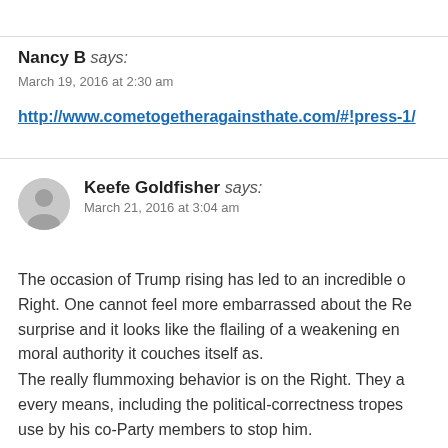Nancy B says:
March 19, 2016 at 2:30 am
http://www.cometogetheragainsthate.com/#!press-1/
Keefe Goldfisher says:
March 21, 2016 at 3:04 am
The occasion of Trump rising has led to an incredible d... Right. One cannot feel more embarrassed about the Re... surprise and it looks like the flailing of a weakening en... moral authority it couches itself as.
The really flummoxing behavior is on the Right. They a... every means, including the political-correctness tropes ... use by his co-Party members to stop him.